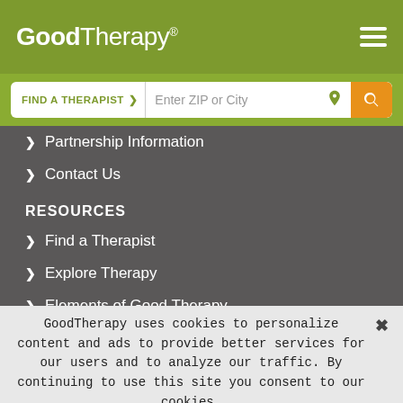[Figure (logo): GoodTherapy logo with registered trademark symbol on olive/green header bar with hamburger menu icon]
[Figure (screenshot): Search bar with FIND A THERAPIST dropdown and Enter ZIP or City input field with location icon and orange search button]
> Partnership Information
> Contact Us
RESOURCES
> Find a Therapist
> Explore Therapy
> Elements of Good Therapy
> Modes of Therapy
> Dear GoodTherapy
> Find a Treatment Center
GoodTherapy uses cookies to personalize content and ads to provide better services for our users and to analyze our traffic. By continuing to use this site you consent to our cookies.